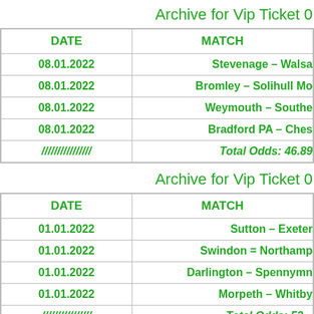Archive for Vip Ticket 0...
| DATE | MATCH |
| --- | --- |
| 08.01.2022 | Stevenage – Walsa... |
| 08.01.2022 | Bromley – Solihull Mo... |
| 08.01.2022 | Weymouth – Southe... |
| 08.01.2022 | Bradford PA – Ches... |
| //////////////// | Total Odds: 46.89 |
Archive for Vip Ticket 0...
| DATE | MATCH |
| --- | --- |
| 01.01.2022 | Sutton – Exeter |
| 01.01.2022 | Swindon = Northamp... |
| 01.01.2022 | Darlington – Spennymn... |
| 01.01.2022 | Morpeth – Whitby... |
| //////////////// | Total Odds: 53... |